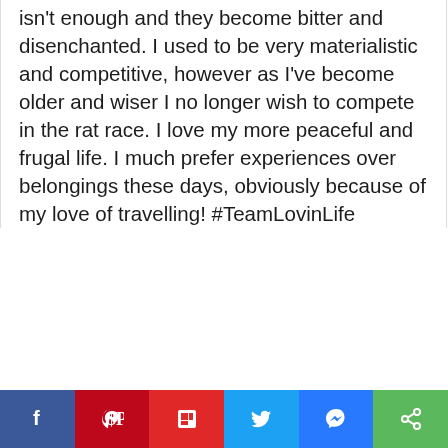isn't enough and they become bitter and disenchanted. I used to be very materialistic and competitive, however as I've become older and wiser I no longer wish to compete in the rat race. I love my more peaceful and frugal life. I much prefer experiences over belongings these days, obviously because of my love of travelling! #TeamLovinLife
Reply
[Figure (infographic): Teal heart/like button circle icon]
1
[Figure (infographic): Share button circle icon]
Johanna
June 23, 2018 at 2:57 pm
[Figure (infographic): WHAT'S NEXT -> Are you Living The Good...]
[Figure (infographic): Social sharing bar: Facebook, Pinterest, Flipboard, Twitter, Messenger, Share]